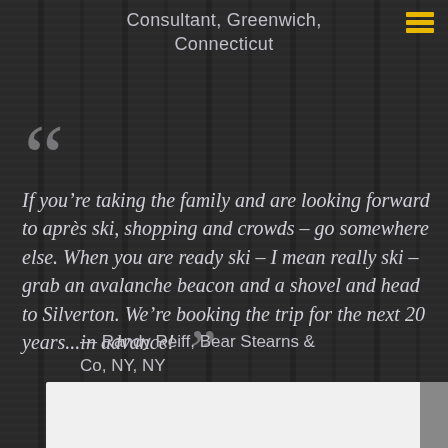Consultant, Greenwich, Connecticut
"If you're taking the family and are looking forward to après ski, shopping and crowds – go somewhere else. When you are ready ski – I mean really ski – grab an avalanche beacon and a shovel and head to Silverton. We're booking the trip for the next 20 years...in advance!"
— Randy Reiff, Bear Stearns & Co, NY, NY